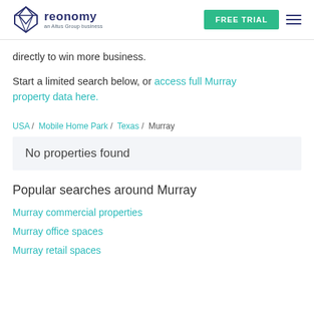reonomy an Altus Group business | FREE TRIAL
directly to win more business.
Start a limited search below, or access full Murray property data here.
USA / Mobile Home Park / Texas / Murray
No properties found
Popular searches around Murray
Murray commercial properties
Murray office spaces
Murray retail spaces